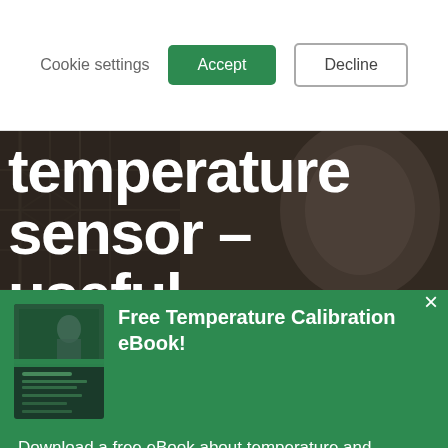Cookie settings | Accept | Decline
temperature sensor – useful
[Figure (screenshot): Green popup panel with book cover image for Free Temperature Calibration eBook]
Free Temperature Calibration eBook!
Download a free eBook about temperature and temperature calibration.
Read More and Download!